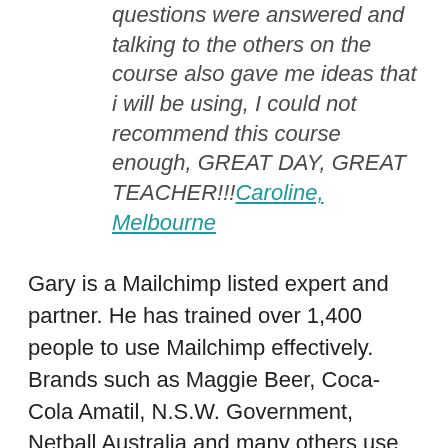questions were answered and talking to the others on the course also gave me ideas that i will be using, I could not recommend this course enough, GREAT DAY, GREAT TEACHER!!!Caroline, Melbourne
Gary is a Mailchimp listed expert and partner. He has trained over 1,400 people to use Mailchimp effectively. Brands such as Maggie Beer, Coca-Cola Amatil, N.S.W. Government, Netball Australia and many others use Gary's Mailchimp services.